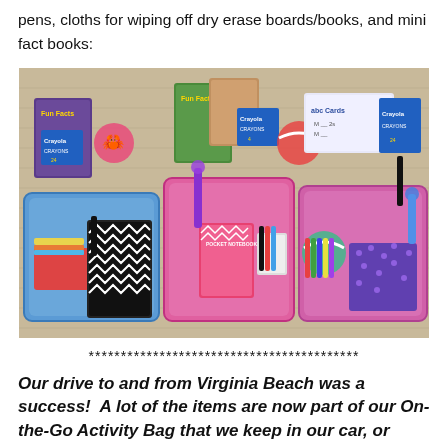pens, cloths for wiping off dry erase boards/books, and mini fact books:
[Figure (photo): Three colorful plastic bins/trays containing children's activity supplies including Crayola crayon boxes, Fun Facts books, pocket notebooks, dry erase cards, markers, pencils, red cloth, and decorative items arranged on a woven surface.]
******************************************
Our drive to and from Virginia Beach was a success!  A lot of the items are now part of our On-the-Go Activity Bag that we keep in our car, or were